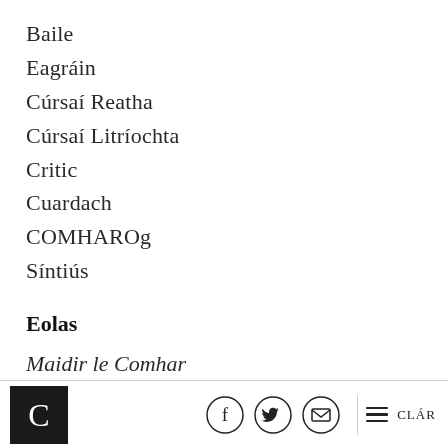Baile
Eagráin
Cúrsaí Reatha
Cúrsaí Litríochta
Critic
Cuardach
COMHAROg
Síntiús
Eolas
Maidir le Comhar
Foireann
Teagmháil
C [logo] | Facebook | Twitter | Email | CLÁR